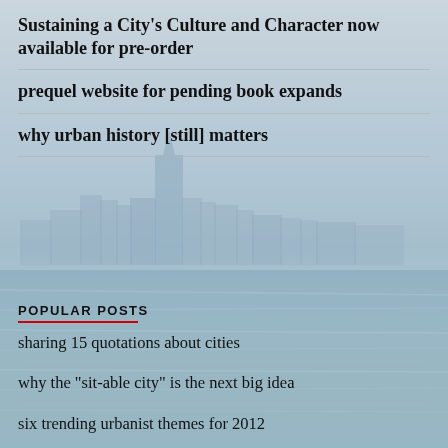Sustaining a City's Culture and Character now available for pre-order
prequel website for pending book expands
why urban history [still] matters
[Figure (photo): A misty cityscape skyline reflected over choppy water, with blurred blue city buildings in the background and sunlit water in the foreground.]
POPULAR POSTS
sharing 15 quotations about cities
why the "sit-able city" is the next big idea
six trending urbanist themes for 2012